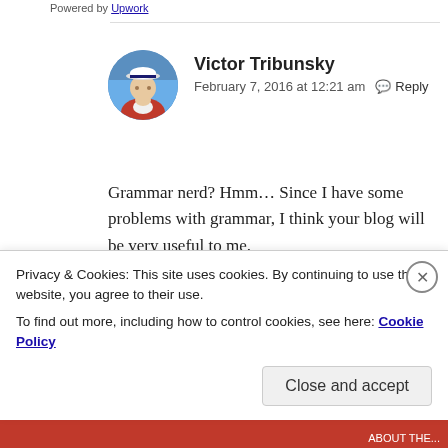Powered by Upwork
Victor Tribunsky
February 7, 2016 at 12:21 am  Reply
Grammar nerd? Hmm… Since I have some problems with grammar, I think your blog will be very useful to me.

Thank you, Lynn and Jeremy. And welcome to my community.
Privacy & Cookies: This site uses cookies. By continuing to use this website, you agree to their use.
To find out more, including how to control cookies, see here: Cookie Policy
Close and accept